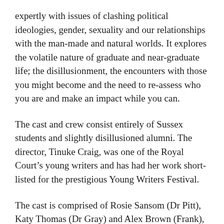expertly with issues of clashing political ideologies, gender, sexuality and our relationships with the man-made and natural worlds. It explores the volatile nature of graduate and near-graduate life; the disillusionment, the encounters with those you might become and the need to re-assess who you are and make an impact while you can.
The cast and crew consist entirely of Sussex students and slightly disillusioned alumni. The director, Tinuke Craig, was one of the Royal Court's young writers and has had her work short-listed for the prestigious Young Writers Festival.
The cast is comprised of Rosie Sansom (Dr Pitt), Katy Thomas (Dr Gray) and Alex Brown (Frank), who have all enjoyed numerous acting successes with SUDS and in